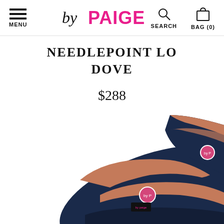MENU | by PAIGE | SEARCH | BAG (0)
NEEDLEPOINT LO DOVE
$288
[Figure (photo): Two navy blue needlepoint loafers with salmon/terracotta leather trim and insole, photographed from above on a white background. The shoes have a small circular logo badge inside.]